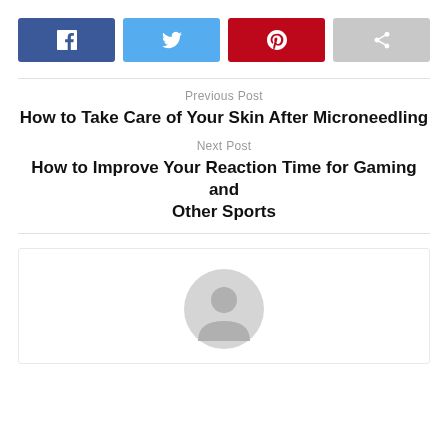[Figure (other): Social sharing buttons row: Facebook (dark blue), Twitter (light blue), Pinterest (red), Share (gray)]
Previous Post
How to Take Care of Your Skin After Microneedling
Next Post
How to Improve Your Reaction Time for Gaming and Other Sports
[Figure (illustration): Generic user avatar icon: gray silhouette of a person inside a circle, placeholder profile image]